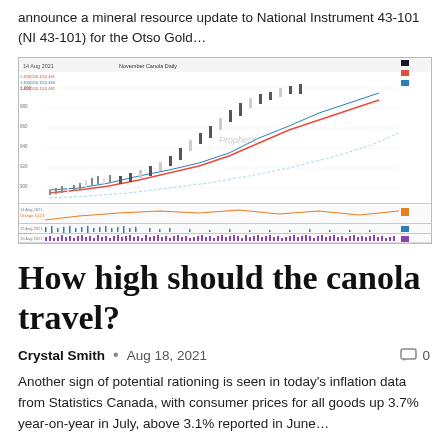announce a mineral resource update to National Instrument 43-101 (NI 43-101) for the Otso Gold…
[Figure (screenshot): Stock chart showing price action with technical indicators including moving averages (red, blue, cyan lines), volume panels, and additional technical indicators (orange line, blue bars, purple bars). Chart labeled 'ProphetX' with 'November Canola Daily' heading. Multiple data panels stacked vertically.]
How high should the canola travel?
Crystal Smith  •  Aug 18, 2021   0
Another sign of potential rationing is seen in today's inflation data from Statistics Canada, with consumer prices for all goods up 3.7% year-on-year in July, above 3.1% reported in June…